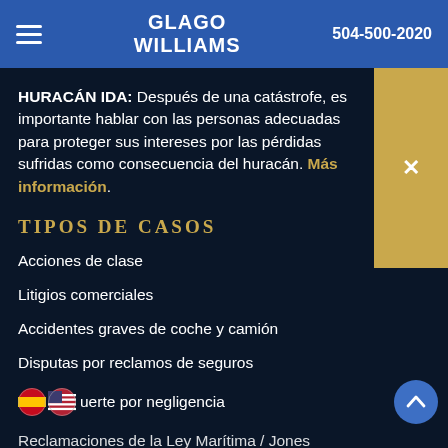GLAGO WILLIAMS | 504-500-2020
HURACÁN IDA: Después de una catástrofe, es importante hablar con las personas adecuadas para proteger sus intereses por las pérdidas sufridas como consecuencia del huracán. Más información.
TIPOS DE CASOS
Acciones de clase
Litigios comerciales
Accidentes graves de coche y camión
Disputas por reclamos de seguros
Muerte por negligencia
Reclamaciones de la Ley Marítima / Jones…